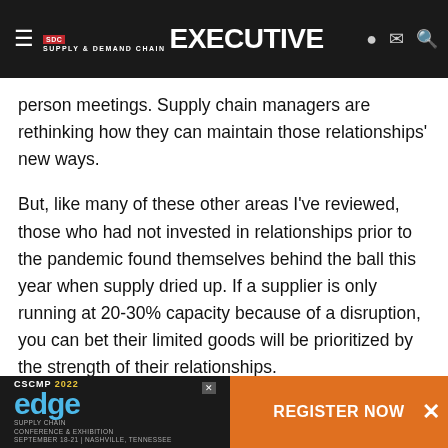Supply & Demand Chain Executive
person meetings. Supply chain managers are rethinking how they can maintain those relationships' new ways.
But, like many of these other areas I've reviewed, those who had not invested in relationships prior to the pandemic found themselves behind the ball this year when supply dried up. If a supplier is only running at 20-30% capacity because of a disruption, you can bet their limited goods will be prioritized by the strength of their relationships.
Supply chain disruptions come and go, and COVID-19 was, no doubt, a supply chain disruption for the ages. We shouldn't [text obscured by ad] g, but we also s[text obscured by ad] re and
[Figure (screenshot): CSCMP 2022 Edge Supply Chain Conference & Exhibition advertisement banner with Register Now button]